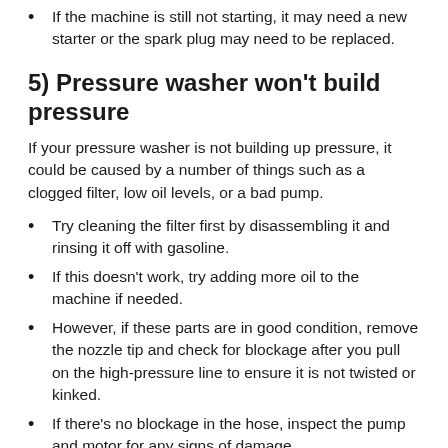If the machine is still not starting, it may need a new starter or the spark plug may need to be replaced.
5) Pressure washer won't build pressure
If your pressure washer is not building up pressure, it could be caused by a number of things such as a clogged filter, low oil levels, or a bad pump.
Try cleaning the filter first by disassembling it and rinsing it off with gasoline.
If this doesn't work, try adding more oil to the machine if needed.
However, if these parts are in good condition, remove the nozzle tip and check for blockage after you pull on the high-pressure line to ensure it is not twisted or kinked.
If there's no blockage in the hose, inspect the pump and motor for any signs of damage.